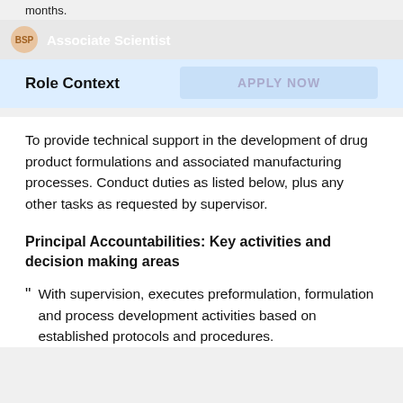months.
Associate Scientist
Role Context
APPLY NOW
To provide technical support in the development of drug product formulations and associated manufacturing processes. Conduct duties as listed below, plus any other tasks as requested by supervisor.
Principal Accountabilities: Key activities and decision making areas
With supervision, executes preformulation, formulation and process development activities based on established protocols and procedures.